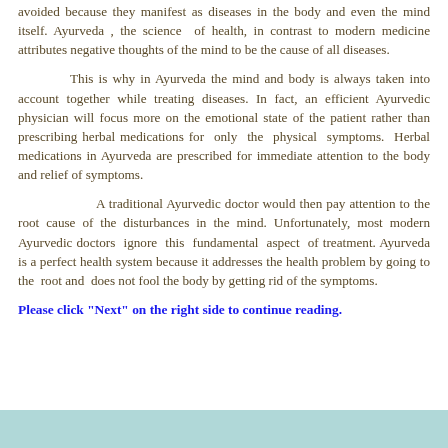avoided because they manifest as diseases in the body and even the mind itself. Ayurveda , the science of health, in contrast to modern medicine attributes negative thoughts of the mind to be the cause of all diseases.
This is why in Ayurveda the mind and body is always taken into account together while treating diseases. In fact, an efficient Ayurvedic physician will focus more on the emotional state of the patient rather than prescribing herbal medications for only the physical symptoms. Herbal medications in Ayurveda are prescribed for immediate attention to the body and relief of symptoms.
A traditional Ayurvedic doctor would then pay attention to the root cause of the disturbances in the mind. Unfortunately, most modern Ayurvedic doctors ignore this fundamental aspect of treatment. Ayurveda is a perfect health system because it addresses the health problem by going to the root and does not fool the body by getting rid of the symptoms.
Please click "Next" on the right side to continue reading.